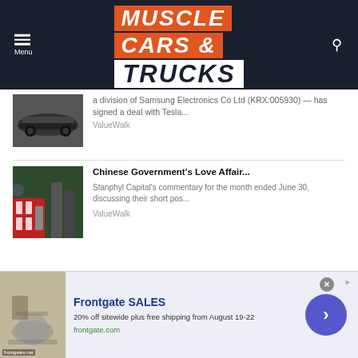[Figure (logo): Muscle Cars & Trucks website header logo on dark navy background with orange and white typography]
a division of Samsung Electronics Co Ltd (KRX:005930) — has signed a deal with Tesla...
ValueWalk
Chinese Government's Love Affair...
Stanphyl Capital's commentary for the month ended June 30, discussing their short pos...
ValueWalk
[Figure (screenshot): Frontgate SALES advertisement banner: 20% off sitewide plus free shipping from August 19-22, frontgate.com]